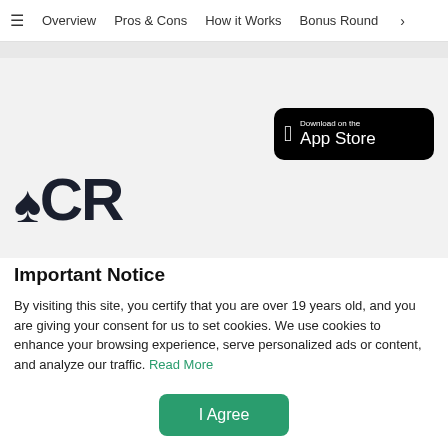≡  Overview  Pros & Cons  How it Works  Bonus Round  >
[Figure (logo): QCR logo with spade card suit symbol in dark navy, large bold text]
[Figure (other): Download on the App Store button, black rounded rectangle with Apple logo]
Important Notice
By visiting this site, you certify that you are over 19 years old, and you are giving your consent for us to set cookies. We use cookies to enhance your browsing experience, serve personalized ads or content, and analyze our traffic. Read More
I Agree